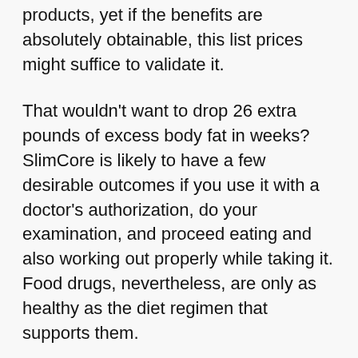expenses ($51.50/hr) than several of our other products, yet if the benefits are absolutely obtainable, this list prices might suffice to validate it.
That wouldn't want to drop 26 extra pounds of excess body fat in weeks? SlimCore is likely to have a few desirable outcomes if you use it with a doctor's authorization, do your examination, and proceed eating and also working out properly while taking it. Food drugs, nevertheless, are only as healthy as the diet regimen that supports them.
At the end of the day, we support using SlimCore with much the same level of care as any other dietary fat-burning product.